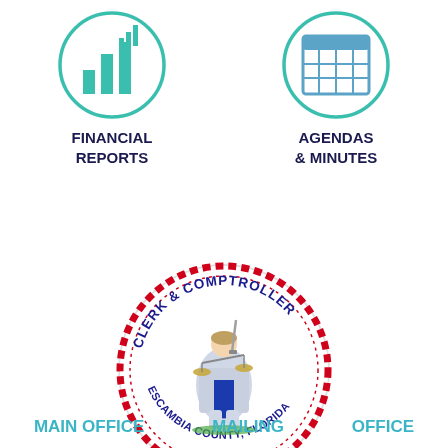[Figure (illustration): Circular teal/green icon with bar chart graphic inside, representing Financial Reports]
FINANCIAL REPORTS
[Figure (illustration): Circular teal/green icon with calendar/grid graphic inside, representing Agendas & Minutes]
AGENDAS & MINUTES
[Figure (logo): Escambia County Clerk & Comptroller official seal: circular seal with red dotted border, blue text reading CLERK & COMPTROLLER and ESCAMBIA COUNTY, FLORIDA, with image of Justice figure holding scales]
MAIN OFFICE
MAILING
OFFICE